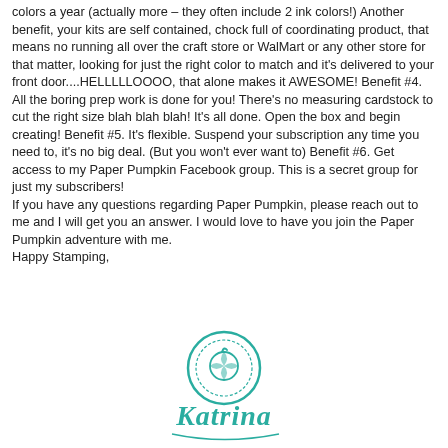colors a year (actually more – they often include 2 ink colors!) Another benefit, your kits are self contained, chock full of coordinating product, that means no running all over the craft store or WalMart or any other store for that matter, looking for just the right color to match and it's delivered to your front door....HELLLLLOOOO, that alone makes it AWESOME! Benefit #4. All the boring prep work is done for you! There's no measuring cardstock to cut the right size blah blah blah! It's all done. Open the box and begin creating! Benefit #5. It's flexible. Suspend your subscription any time you need to, it's no big deal. (But you won't ever want to) Benefit #6. Get access to my Paper Pumpkin Facebook group. This is a secret group for just my subscribers!
If you have any questions regarding Paper Pumpkin, please reach out to me and I will get you an answer. I would love to have you join the Paper Pumpkin adventure with me.
Happy Stamping,
[Figure (illustration): Teal/turquoise signature logo — a circular stamp-like design with a cursive name 'Katrina' below it, in teal color]